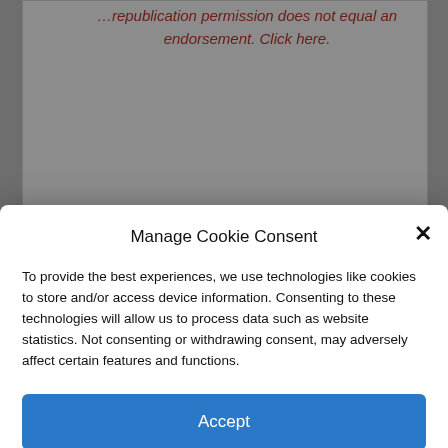…republication permission does not equal an endorsement. Click here.
Manage Cookie Consent
To provide the best experiences, we use technologies like cookies to store and/or access device information. Consenting to these technologies will allow us to process data such as website statistics. Not consenting or withdrawing consent, may adversely affect certain features and functions.
Accept
Cookie Policy   Privacy Policy
Abbott Express Heads to the Windy